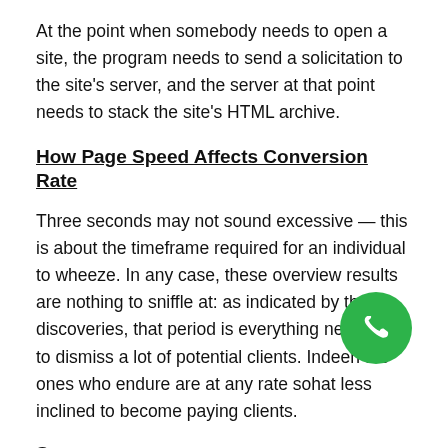At the point when somebody needs to open a site, the program needs to send a solicitation to the site's server, and the server at that point needs to stack the site's HTML archive.
How Page Speed Affects Conversion Rate
Three seconds may not sound excessive — this is about the timeframe required for an individual to wheeze. In any case, these overview results are nothing to sniffle at: as indicated by their discoveries, that period is everything necessary to dismiss a lot of potential clients. Indeed, even the ones who endure are at any rate somewhat less inclined to become paying clients.
Source